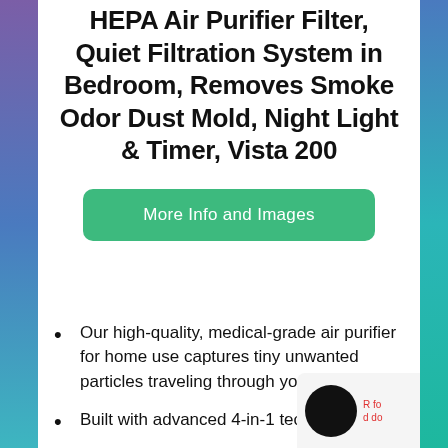HEPA Air Purifier Filter, Quiet Filtration System in Bedroom, Removes Smoke Odor Dust Mold, Night Light & Timer, Vista 200
More Info and Images
Our high-quality, medical-grade air purifier for home use captures tiny unwanted particles traveling through your home.
Built with advanced 4-in-1 technology, ou...